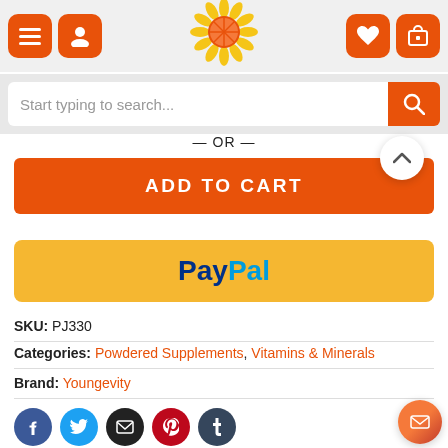[Figure (screenshot): E-commerce page header with menu, user, logo, wishlist, and cart icons]
Start typing to search...
— OR —
ADD TO CART
[Figure (logo): PayPal button on gold/yellow background]
SKU: PJ330
Categories: Powdered Supplements, Vitamins & Minerals
Brand: Youngevity
[Figure (infographic): Social sharing icons: Facebook, Twitter, Email, Pinterest, Tumblr]